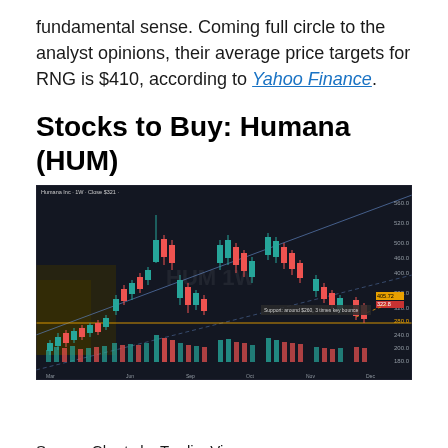fundamental sense. Coming full circle to the analyst opinions, their average price targets for RNG is $410, according to Yahoo Finance.
Stocks to Buy: Humana (HUM)
[Figure (screenshot): TradingView weekly candlestick chart for Humana Inc (HUM) showing price action with candlesticks, volume bars, support/resistance lines, and channel lines. Dark background with green and red candles. Price range approximately 240-500. Orange horizontal support line visible. Blue channel lines drawn on chart. Volume histogram at bottom.]
Source: Charts by TradingView